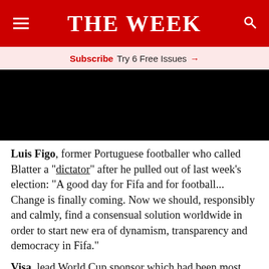THE WEEK
Subscribe Try 6 Free Issues →
[Figure (photo): Black image placeholder for an article photo related to FIFA/Blatter story]
Luis Figo, former Portuguese footballer who called Blatter a "dictator" after he pulled out of last week's election: "A good day for Fifa and for football... Change is finally coming. Now we should, responsibly and calmly, find a consensual solution worldwide in order to start new era of dynamism, transparency and democracy in Fifa."
Visa, lead World Cup sponsor which had been most